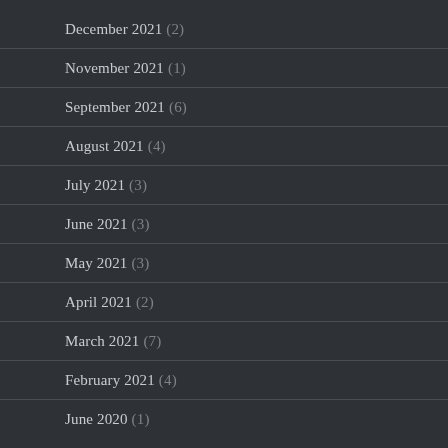December 2021 (2)
November 2021 (1)
September 2021 (6)
August 2021 (4)
July 2021 (3)
June 2021 (3)
May 2021 (3)
April 2021 (2)
March 2021 (7)
February 2021 (4)
June 2020 (1)